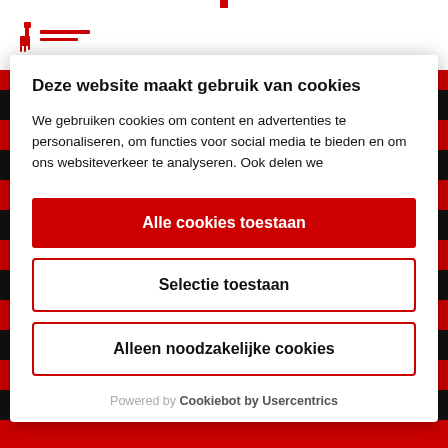[Figure (logo): Red giraffe/animal logo with red text brand name]
Deze website maakt gebruik van cookies
We gebruiken cookies om content en advertenties te personaliseren, om functies voor social media te bieden en om ons websiteverkeer te analyseren. Ook delen we
Alle cookies toestaan
Selectie toestaan
Alleen noodzakelijke cookies
Powered by Cookiebot by Usercentrics